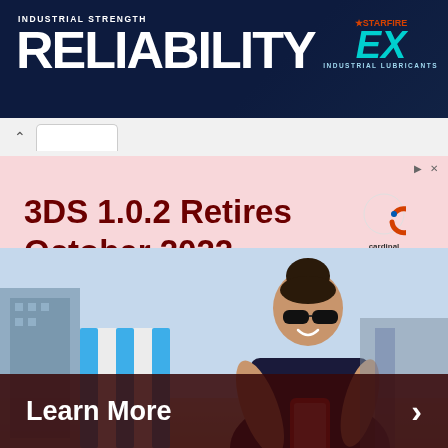[Figure (screenshot): Dark blue banner advertisement for Star Fire EX Industrial Lubricants with white text 'INDUSTRIAL STRENGTH RELIABILITY' and cyan/teal EX logo on the right side]
[Figure (screenshot): Pink advertisement banner with dark red bold text '3DS 1.0.2 Retires October 2022' and Cardinal (A Nile Studios) logo on the right]
[Figure (photo): Woman with sunglasses sitting in a striped beach chair outdoors, smiling at her red smartphone, with buildings and sky in the background]
Learn More
>